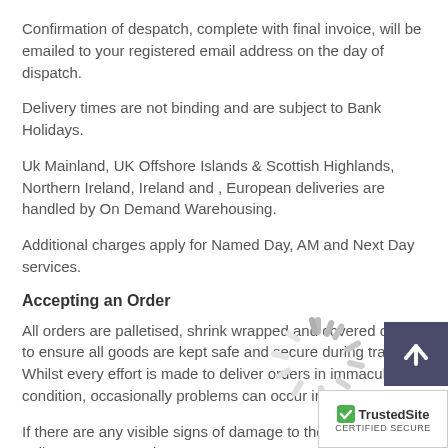Confirmation of despatch, complete with final invoice, will be emailed to your registered email address on the day of dispatch.
Delivery times are not binding and are subject to Bank Holidays.
Uk Mainland, UK Offshore Islands & Scottish Highlands, Northern Ireland, Ireland and , European deliveries are handled by On Demand Warehousing.
Additional charges apply for Named Day, AM and Next Day services.
Accepting an Order
[Figure (other): Loading spinner graphic — grey radial lines in a circular pattern indicating loading]
All orders are palletised, shrink wrapped and covered on top to ensure all goods are kept safe and secure during transit. Whilst every effort is made to deliver orders in immaculate condition, occasionally problems can occur in transit.
If there are any visible signs of damage to the exterior pallets or cartons, please contact customer service on +44 (0) 161 387 7214 or email sales@rysons.com immediately.
All goods are delivered on trucks; therefore you will need to ensure your desired delivery address has sufficient acc...
[Figure (other): TrustedSite Certified Secure badge in the bottom right corner]